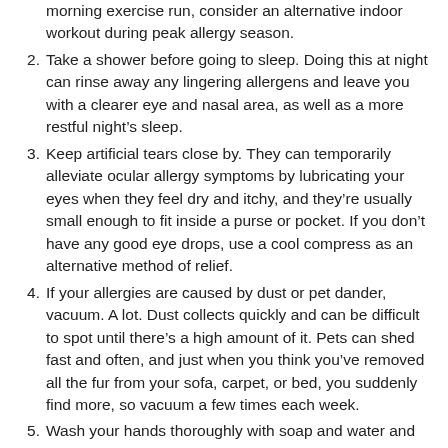morning exercise run, consider an alternative indoor workout during peak allergy season.
2. Take a shower before going to sleep. Doing this at night can rinse away any lingering allergens and leave you with a clearer eye and nasal area, as well as a more restful night's sleep.
3. Keep artificial tears close by. They can temporarily alleviate ocular allergy symptoms by lubricating your eyes when they feel dry and itchy, and they're usually small enough to fit inside a purse or pocket. If you don't have any good eye drops, use a cool compress as an alternative method of relief.
4. If your allergies are caused by dust or pet dander, vacuum. A lot. Dust collects quickly and can be difficult to spot until there's a high amount of it. Pets can shed fast and often, and just when you think you've removed all the fur from your sofa, carpet, or bed, you suddenly find more, so vacuum a few times each week.
5. Wash your hands thoroughly with soap and water and change your linens more often during the spring season. By removing fridge pollen...